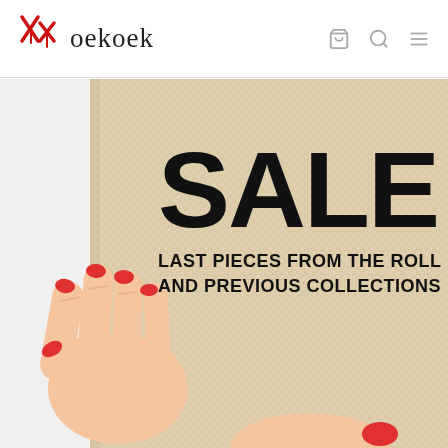Koekoek
[Figure (photo): A hand with red-painted nails holding a large roll of beige woven textile fabric, with bold text overlaid reading SALE and LAST PIECES FROM THE ROLL AND PREVIOUS COLLECTIONS]